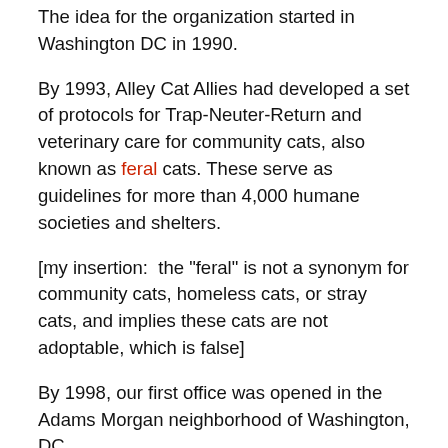The idea for the organization started in Washington DC in 1990.
By 1993, Alley Cat Allies had developed a set of protocols for Trap-Neuter-Return and veterinary care for community cats, also known as feral cats. These serve as guidelines for more than 4,000 humane societies and shelters.
[my insertion:  the "feral" is not a synonym for community cats, homeless cats, or stray cats, and implies these cats are not adoptable, which is false]
By 1998, our first office was opened in the Adams Morgan neighborhood of Washington, DC.
“Through natural attrition and the removal of adoptable cats and kittens, the cat population dwindled from more than fifty-four cats to six over seven years. The last cat